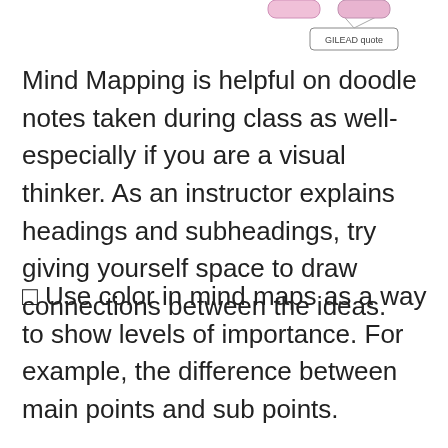[Figure (illustration): Partial mind map diagram visible at top of page showing labeled nodes including 'GILEAD quote' in a rounded rectangle, and a pink/purple node labeled 'trial/clinical', connected by lines. Only the bottom portion of the diagram is visible.]
Mind Mapping is helpful on doodle notes taken during class as well- especially if you are a visual thinker. As an instructor explains headings and subheadings, try giving yourself space to draw connections between the ideas.
⬜ Use color in mind maps as a way to show levels of importance. For example, the difference between main points and sub points.